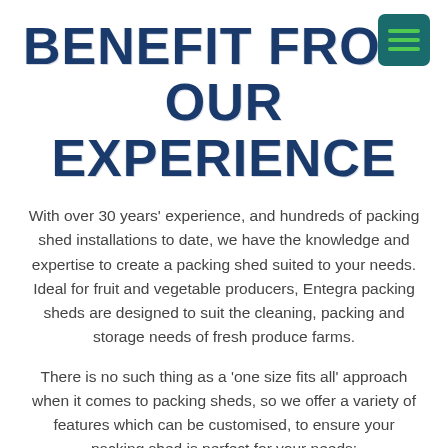BENEFIT FROM OUR EXPERIENCE
[Figure (other): Hamburger menu icon — teal/dark green square with three green horizontal lines]
With over 30 years' experience, and hundreds of packing shed installations to date, we have the knowledge and expertise to create a packing shed suited to your needs. Ideal for fruit and vegetable producers, Entegra packing sheds are designed to suit the cleaning, packing and storage needs of fresh produce farms.
There is no such thing as a 'one size fits all' approach when it comes to packing sheds, so we offer a variety of features which can be customised, to ensure your packing shed is perfect for your needs: